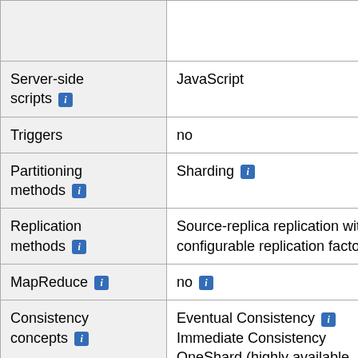|  |  |
| Server-side scripts [i] | JavaScript |
| Triggers | no |
| Partitioning methods [i] | Sharding [i] |
| Replication methods [i] | Source-replica replication with configurable replication factor |
| MapReduce [i] | no [i] |
| Consistency concepts [i] | Eventual Consistency [i]
Immediate Consistency
OneShard (highly available, fault-tolerant deployment mode with ACID semantics) |